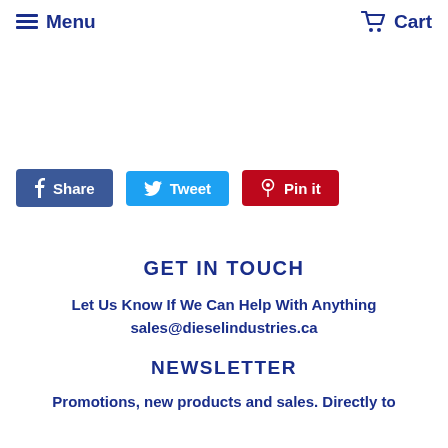Menu   Cart
[Figure (other): Social sharing buttons: Facebook Share, Twitter Tweet, Pinterest Pin it]
GET IN TOUCH
Let Us Know If We Can Help With Anything
sales@dieselindustries.ca
NEWSLETTER
Promotions, new products and sales. Directly to